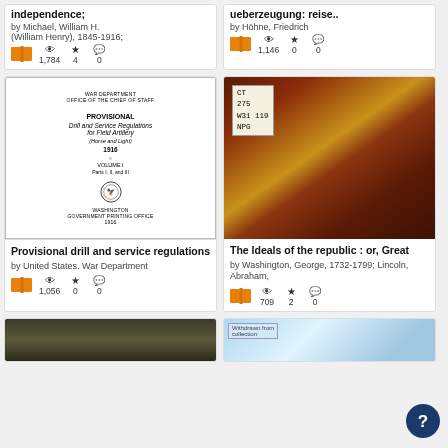[Figure (screenshot): Internet Archive book listing interface showing two rows of book cards in a grid layout]
independence;
by Michael, William H. (William Henry), 1845-1916;
1,784 views, 4 favorites, 0 reviews
ueberzeugung: reise..
by Höhne, Friedrich
1,146 views, 0 favorites, 0 reviews
[Figure (photo): Title page of Provisional Drill and Service Regulations for Field Artillery 1916 Volume I]
Provisional drill and service regulations
by United States. War Department
1,056 views, 0 favorites, 0 reviews
[Figure (photo): Leather bound book cover with call number label: CT 275 W31 119 NPG]
The Ideals of the republic : or, Great
by Washington, George, 1732-1799; Lincoln, Abraham,
709 views, 2 favorites, 0 reviews